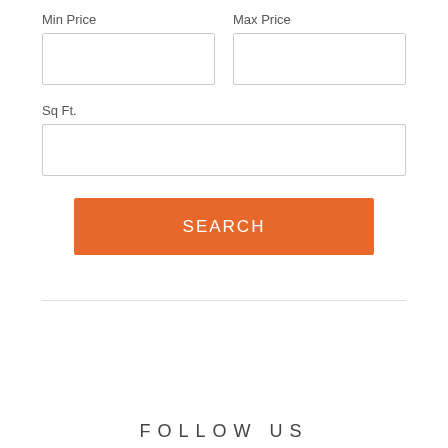Min Price
Max Price
Sq Ft.
SEARCH
FOLLOW US